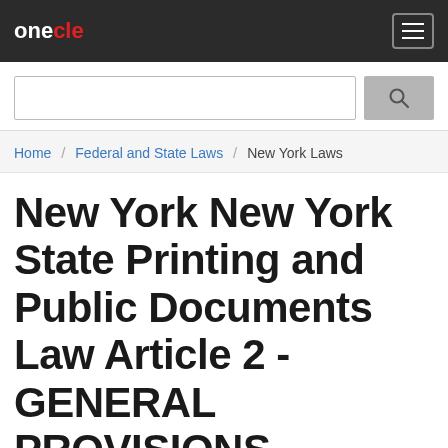onecle
Home / Federal and State Laws / New York Laws
New York New York State Printing and Public Documents Law Article 2 - GENERAL PROVISIONS